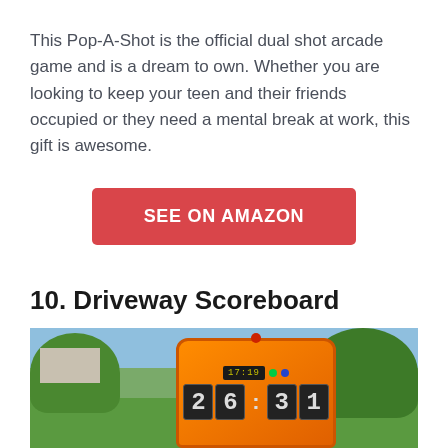This Pop-A-Shot is the official dual shot arcade game and is a dream to own. Whether you are looking to keep your teen and their friends occupied or they need a mental break at work, this gift is awesome.
SEE ON AMAZON
10. Driveway Scoreboard
[Figure (photo): Photo of an orange driveway scoreboard with LCD display showing 17:19 and large digit panels showing scores (26 and 31), set against an outdoor background with trees and grass]